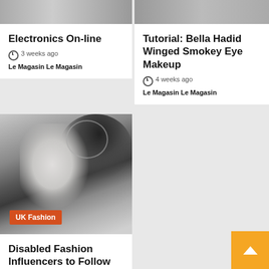[Figure (photo): Partial photo strip at top of left card (cropped person image)]
Electronics On-line
3 weeks ago  Le Magasin Le Magasin
[Figure (photo): Partial photo strip at top of right card (cropped person image)]
Tutorial: Bella Hadid Winged Smokey Eye Makeup
4 weeks ago  Le Magasin Le Magasin
[Figure (photo): Black and white close-up photo of a woman's neck and hair with circular earring; UK Fashion badge overlay]
UK Fashion
Disabled Fashion Influencers to Follow